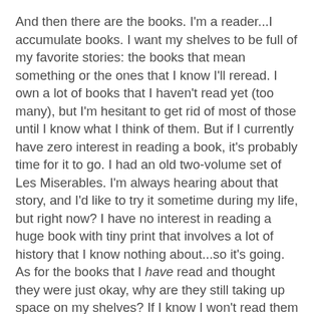And then there are the books. I'm a reader...I accumulate books. I want my shelves to be full of my favorite stories: the books that mean something or the ones that I know I'll reread. I own a lot of books that I haven't read yet (too many), but I'm hesitant to get rid of most of those until I know what I think of them. But if I currently have zero interest in reading a book, it's probably time for it to go. I had an old two-volume set of Les Miserables. I'm always hearing about that story, and I'd like to try it sometime during my life, but right now? I have no interest in reading a huge book with tiny print that involves a lot of history that I know nothing about...so it's going. As for the books that I have read and thought they were just okay, why are they still taking up space on my shelves? If I know I won't read them again, why am I keeping them?
I'll probably take the DVDs to a thrift store, but I'm not sure what to do with the books. Any suggestions? Over the past couple of years I've donated a lot of books to the Little Free Libraries in our town, and I will be doing that again with some of these. But others are newer releases and in like-new